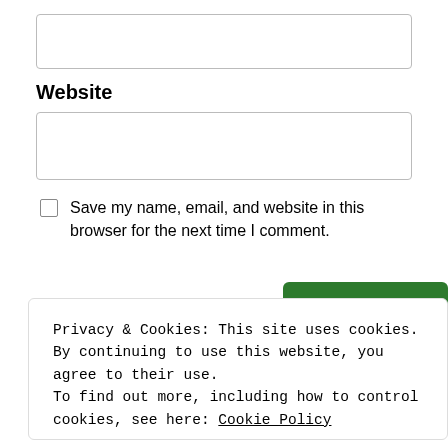[Figure (screenshot): Empty text input box (form field, rounded border)]
Website
[Figure (screenshot): Empty text input box for website URL (form field, rounded border)]
Save my name, email, and website in this browser for the next time I comment.
Privacy & Cookies: This site uses cookies. By continuing to use this website, you agree to their use.
To find out more, including how to control cookies, see here: Cookie Policy
Close and accept